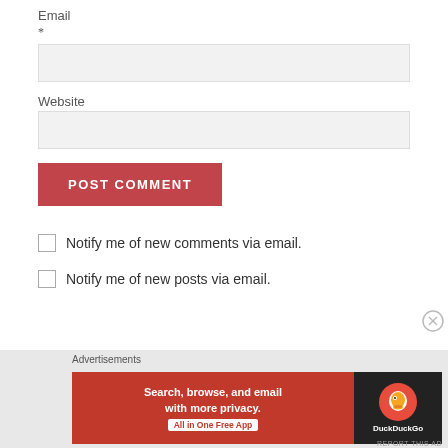Email
*
[Figure (other): Text input field for email address, light gray background]
Website
[Figure (other): Text input field for website URL, light gray background]
[Figure (other): POST COMMENT button, dark red/crimson background with white uppercase text]
Notify me of new comments via email.
Notify me of new posts via email.
Advertisements
[Figure (other): DuckDuckGo advertisement banner: Search, browse, and email with more privacy. All in One Free App. Orange-red banner with DuckDuckGo logo on dark background.]